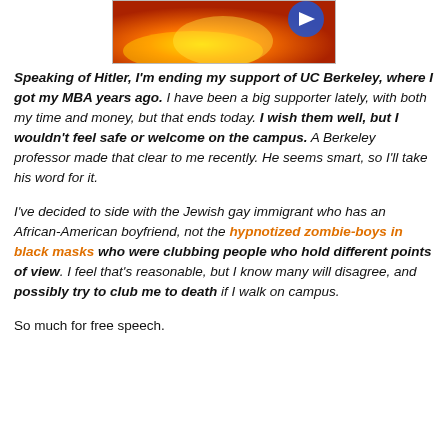[Figure (photo): Thumbnail image showing fire/flames with a blue play button overlay in the top right corner]
Speaking of Hitler, I'm ending my support of UC Berkeley, where I got my MBA years ago. I have been a big supporter lately, with both my time and money, but that ends today. I wish them well, but I wouldn't feel safe or welcome on the campus. A Berkeley professor made that clear to me recently. He seems smart, so I'll take his word for it.
I've decided to side with the Jewish gay immigrant who has an African-American boyfriend, not the hypnotized zombie-boys in black masks who were clubbing people who hold different points of view. I feel that's reasonable, but I know many will disagree, and possibly try to club me to death if I walk on campus.
So much for free speech.